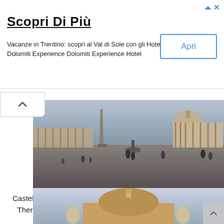[Figure (other): Advertisement banner: Scopri Di Più — Vacanze in Trentino: scopri al Val di Sole con gli Hotel Dolomiti Experience Dolomiti Experience Hotel. With an 'Apri' button.]
[Figure (photo): Wide panoramic photo of St. Peter's Square in Vatican City, showing the obelisk, colonnade, dome of St. Peter's Basilica, and tourists walking in the piazza.]
Castel Sant'Angelo is an interesting look cylindrical building. There wasn't a lot to look at in this Castle, but I enjoyed it anyway.
[Figure (photo): Partial photo of Castel Sant'Angelo in Rome with angel statues in the foreground and a cloudy sky.]